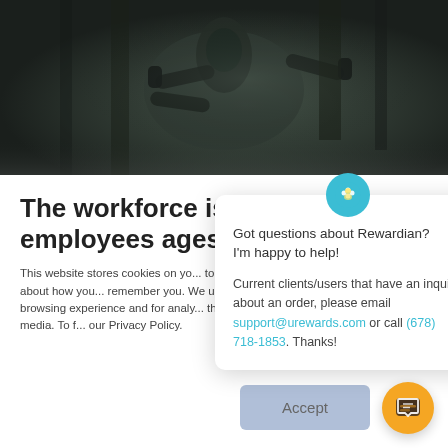[Figure (photo): Dark moody photo of a person exercising with dumbbells in a gym, dimly lit background]
The workforce is changing — employees ages 6…
This website stores cookies on your computer to collect information about how you interact with us, remember you. We use this information to improve your browsing experience and for analytics and metrics about this website and other media. To find out more, visit our Privacy Policy.
[Figure (screenshot): Chat widget popup with Rewardian logo, close button, greeting text, and contact information]
Got questions about Rewardian? I'm happy to help!

Current clients/users that have an inquiry about an order, please email support@urewards.com or call (678) 718-1853. Thanks!